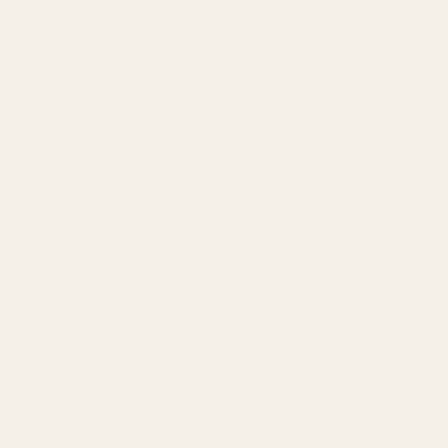application with a physician’s statement. There are three physician forms; one for minors, one for applicants with a debilitating medical condition other than debilitating medical conditions for which physicians can recommend
Nevada | ? Doesnt say! >> health.nv.gov/MedicalMarijuan…
New Hampshire | ? Doesnt say! >> www.dhhs.state.nh.us/o…
New Jersey | Amended: SB 2842 (40 KB) Signed into law adoption of his conditional veto(10 KB) Allows edible forms of from a pediatrician and a psychiatrist. Also, proof of government application fee under their legal guardian/caregiver’s government guardians and minor patients? Designation as a legal guardian fee. The required fee for a qualified minor patient is $200; however enrollment in one of the approved government assistance programs reduced application fee. I’m under the age of 18 and have a listed 18 that suffer from a debilitating medical condition are considered Medicinal Marijuana Program (MMP). Minor patients are required caregiver until they are 18 years of age; in which case www.state.nj.us/health/medicalmarijuana/
New Mexico | Can a minor apply to be a patient in the program minor’s Caregiver (see section on Caregivers). >> nmhealth.or…